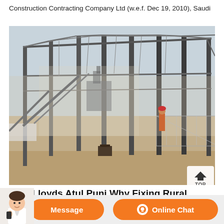Construction Contracting Company Ltd (w.e.f. Dec 19, 2010), Saudi
[Figure (photo): Construction site photo showing large steel framework/structural skeleton of an industrial building under construction in a desert/arid environment. Dust visible in the air, workers on site, scaffolding and steel columns visible.]
Punj Lloyds Atul Punj Why Fixing Rural Infrastructure Is
[Figure (infographic): Website chat bar overlay with orange Message button and Online Chat button, and a female customer service avatar on the left.]